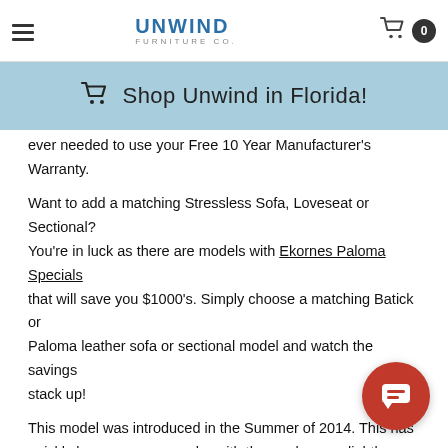Unwind Furniture Co.
Shop Unwind in Florida!
ever needed to use your Free 10 Year Manufacturer's Warranty.
Want to add a matching Stressless Sofa, Loveseat or Sectional? You're in luck as there are models with Ekornes Paloma Specials that will save you $1000's. Simply choose a matching Batick or Paloma leather sofa or sectional model and watch the savings stack up!
This model was introduced in the Summer of 2014. This has quickly become very popular with those who are slightly taller than average. The High Back City with High Base reaches its highest. That is guaranteed to be tall enough for many. Order